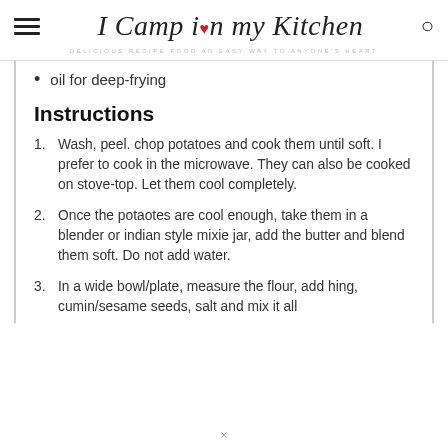I Camp in my Kitchen — DELICIOUS RECIPE FOOD AN EASY WAY TO ANYONE'S HEART
oil for deep-frying
Instructions
1. Wash, peel. chop potatoes and cook them until soft. I prefer to cook in the microwave. They can also be cooked on stove-top. Let them cool completely.
2. Once the potaotes are cool enough, take them in a blender or indian style mixie jar, add the butter and blend them soft. Do not add water.
3. In a wide bowl/plate, measure the flour, add hing, cumin/sesame seeds, salt and mix it all
×